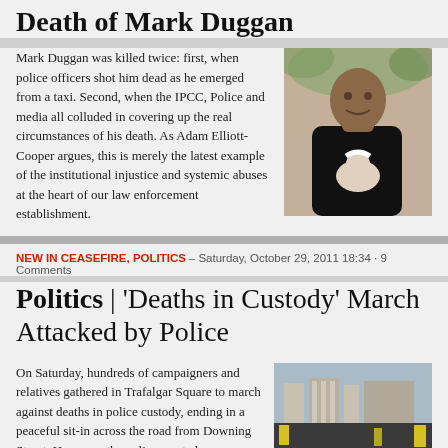Death of Mark Duggan
Mark Duggan was killed twice: first, when police officers shot him dead as he emerged from a taxi. Second, when the IPCC, Police and media all colluded in covering up the real circumstances of his death. As Adam Elliott-Cooper argues, this is merely the latest example of the institutional injustice and systemic abuses at the heart of our law enforcement establishment.
[Figure (photo): Photo of Mark Duggan, a young Black man holding a baby]
NEW IN CEASEFIRE, POLITICS – Saturday, October 29, 2011 18:34 · 9 Comments
Politics | 'Deaths in Custody' March Attacked by Police
On Saturday, hundreds of campaigners and relatives gathered in Trafalgar Square to march against deaths in police custody, ending in a peaceful sit-in across the road from Downing Street. However, the police reacted
[Figure (photo): Photo of march with banner reading 'UNITED FAMILIES AND FRIENDS CAMPAIGN NO MORE DEATHS IN CUSTODY']